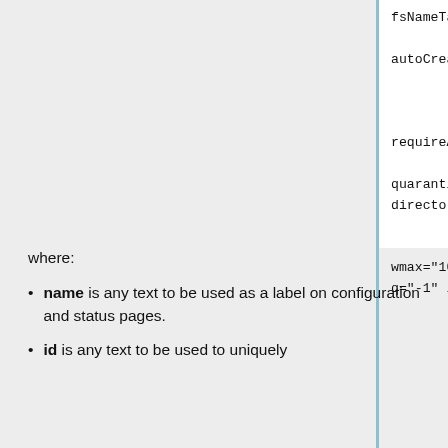fsNameTag="00097770"

autoCreateUser="no"
                port="85"
                ssl="no"

requireAuthentication="no"

quarantine="quarantine-
directory" >

                <jpeg
wmax="10000" wmin="96"
q="-1" />

                </StorageService>
where:
name is any text to be used as a label on configuration and status pages.
id is any text to be used to uniquely